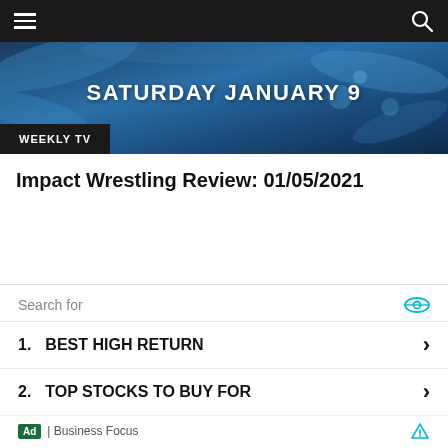Weekly TV navigation bar with hamburger menu and search icon
[Figure (illustration): Banner image with water splash background in blue tones. Text reads SATURDAY JANUARY 9 in white bold letters. Badge at bottom left reads WEEKLY TV.]
Impact Wrestling Review: 01/05/2021
Search for
1. BEST HIGH RETURN
2. TOP STOCKS TO BUY FOR
Ad | Business Focus